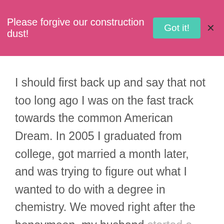Please forgive our construction dust! Got it! X
I should first back up and say that not too long ago I was on the fast track towards the common American Dream. In 2005 I graduated from college, got married a month later, and was trying to figure out what I wanted to do with a degree in chemistry. We moved right after the honeymoon, my husband started a job as a support representative, and I began to tutor and free-lance.